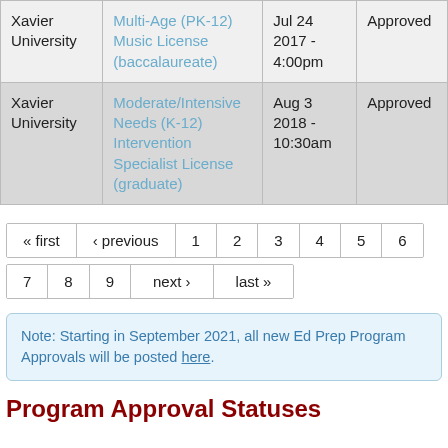| Institution | Program | Date | Status |
| --- | --- | --- | --- |
| Xavier University | Multi-Age (PK-12) Music License (baccalaureate) | Jul 24 2017 - 4:00pm | Approved |
| Xavier University | Moderate/Intensive Needs (K-12) Intervention Specialist License (graduate) | Aug 3 2018 - 10:30am | Approved |
« first ‹ previous 1 2 3 4 5 6 7 8 9 next › last »
Note: Starting in September 2021, all new Ed Prep Program Approvals will be posted here.
Program Approval Statuses